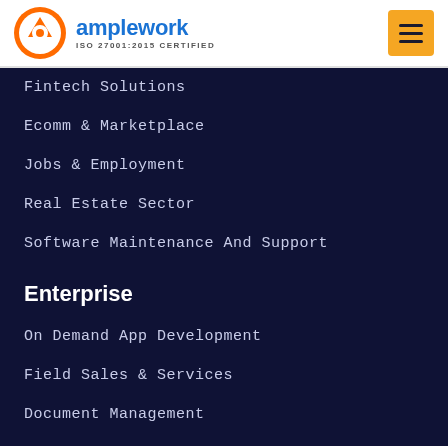[Figure (logo): Amplework logo with orange circular icon and blue text 'amplework', ISO 27001:2015 CERTIFIED subtitle]
Fintech Solutions
Ecomm & Marketplace
Jobs & Employment
Real Estate Sector
Software Maintenance And Support
Enterprise
On Demand App Development
Field Sales & Services
Document Management
Hippa Compliances
Software Testing Services
Logistic & Distribution
Enterprise App Integration